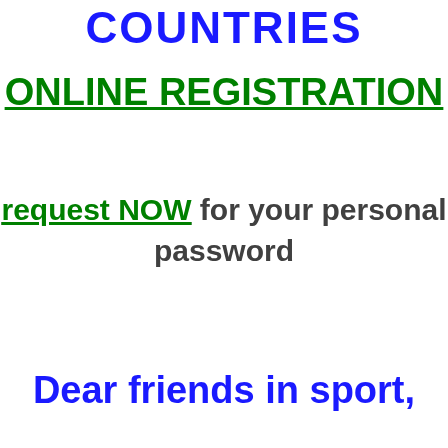COUNTRIES
ONLINE REGISTRATION
request NOW for your personal password
Dear friends in sport,